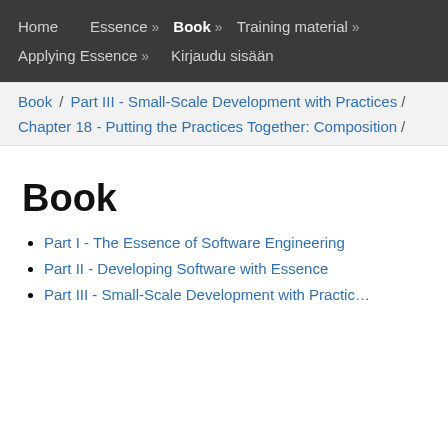Home  Essence »  Book »  Training material »  Applying Essence »  Kirjaudu sisään
Book / Part III - Small-Scale Development with Practices / Chapter 18 - Putting the Practices Together: Composition /
Book
Part I - The Essence of Software Engineering
Part II - Developing Software with Essence
Part III - Small-Scale Development with Practices